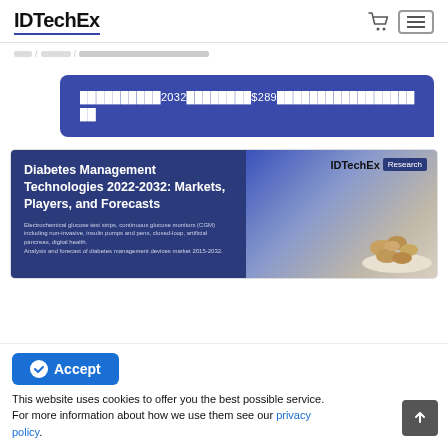IDTechEx
Home / Reports / Diabetes Management Technologies 2022-2032: Markets, Players, and Forecasts
糖尿病管理技術2032年:市場規模$289億、主要プレーヤー、予測データ
[Figure (illustration): IDTechEx Research report cover for 'Diabetes Management Technologies 2022-2032: Markets, Players, and Forecasts' showing a blue text box with title, IDTechEx Research branding, and product images.]
This website uses cookies to offer you the best possible service. For more information about how we use them see our privacy policy.